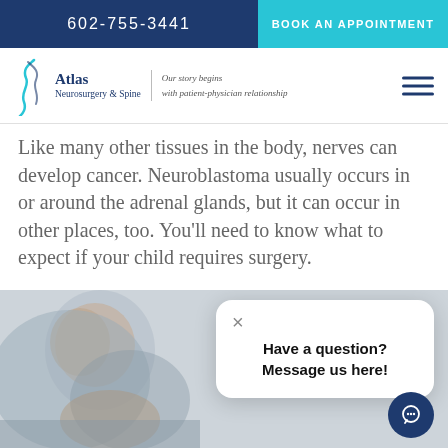602-755-3441   BOOK AN APPOINTMENT
[Figure (logo): Atlas Neurosurgery & Spine logo with tagline: Our story begins with patient-physician relationship]
Like many other tissues in the body, nerves can develop cancer. Neuroblastoma usually occurs in or around the adrenal glands, but it can occur in other places, too. You'll need to know what to expect if your child requires surgery.
[Figure (photo): Elderly person holding their neck/jaw area, suggesting pain, with gray background. A chat popup overlays: 'Have a question? Message us here!' with a close X button.]